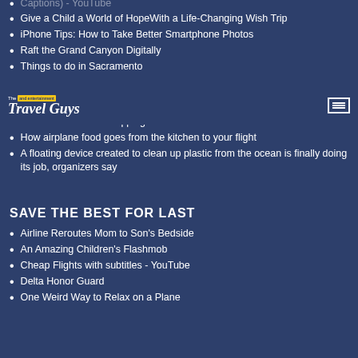Captions) - YouTube
Give a Child a World of Hope With a Life-Changing Wish Trip
iPhone Tips: How to Take Better Smartphone Photos
Raft the Grand Canyon Digitally
Things to do in Sacramento
Balance Exercises to Treat Vertigo
Up in the Air: Meet the Man Who Flies Around the World for Free
Reuse Your Online Shipping Boxes - Give Back Box
How airplane food goes from the kitchen to your flight
A floating device created to clean up plastic from the ocean is finally doing its job, organizers say
SAVE THE BEST FOR LAST
Airline Reroutes Mom to Son's Bedside
An Amazing Children's Flashmob
Cheap Flights with subtitles - YouTube
Delta Honor Guard
One Weird Way to Relax on a Plane